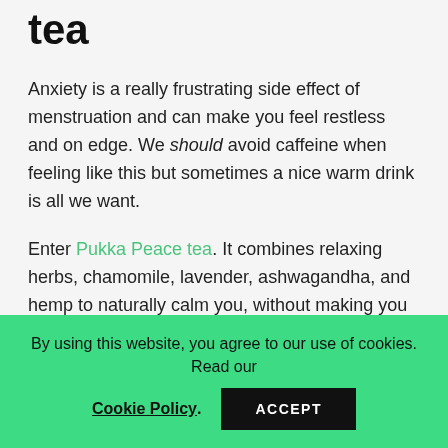tea
Anxiety is a really frustrating side effect of menstruation and can make you feel restless and on edge. We should avoid caffeine when feeling like this but sometimes a nice warm drink is all we want.
Enter Pukka Peace tea. It combines relaxing herbs, chamomile, lavender, ashwagandha, and hemp to naturally calm you, without making you feel sleepy.
What we think: Originally bought for a self-care evening, we had the Peace tea to avoid caffeine on a
By using this website, you agree to our use of cookies. Read our Cookie Policy. ACCEPT